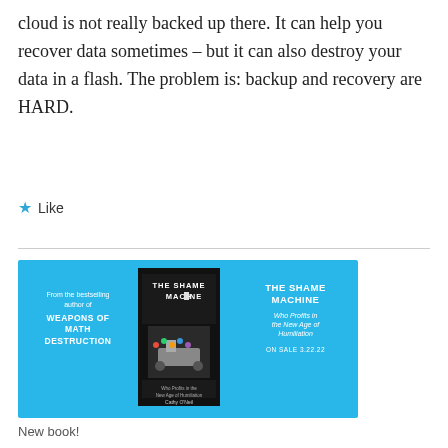cloud is not really backed up there. It can help you recover data sometimes – but it can also destroy your data in a flash. The problem is: backup and recovery are HARD.
★ Like
[Figure (illustration): Advertisement banner with cyan/blue background showing the book 'The Shame Machine' by Cathy O'Neil. Left side text: 'From the bestselling author of WEAPONS OF MATH DESTRUCTION'. Center: book cover image. Right side text: 'THE SHAME MACHINE – Who Profits in the New Age of Humiliation – ON SALE 3.22.22']
New book!